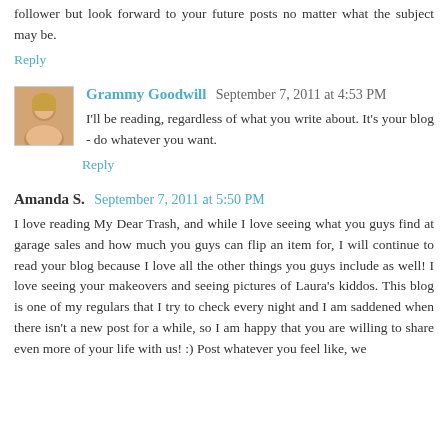follower but look forward to your future posts no matter what the subject may be.
Reply
Grammy Goodwill  September 7, 2011 at 4:53 PM
I'll be reading, regardless of what you write about. It's your blog - do whatever you want.
Reply
Amanda S.  September 7, 2011 at 5:50 PM
I love reading My Dear Trash, and while I love seeing what you guys find at garage sales and how much you guys can flip an item for, I will continue to read your blog because I love all the other things you guys include as well! I love seeing your makeovers and seeing pictures of Laura's kiddos. This blog is one of my regulars that I try to check every night and I am saddened when there isn't a new post for a while, so I am happy that you are willing to share even more of your life with us! :) Post whatever you feel like, we